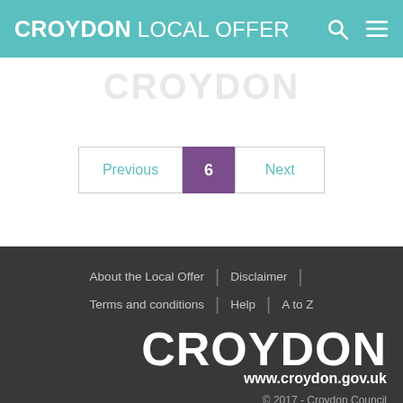CROYDON LOCAL OFFER
Previous | 6 | Next
About the Local Offer | Disclaimer | Terms and conditions | Help | A to Z | CROYDON www.croydon.gov.uk | © 2017 - Croydon Council